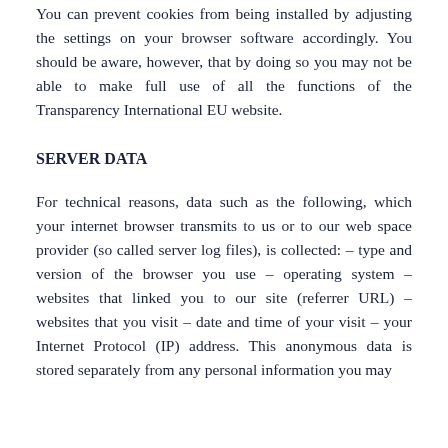You can prevent cookies from being installed by adjusting the settings on your browser software accordingly. You should be aware, however, that by doing so you may not be able to make full use of all the functions of the Transparency International EU website.
SERVER DATA
For technical reasons, data such as the following, which your internet browser transmits to us or to our web space provider (so called server log files), is collected: – type and version of the browser you use – operating system – websites that linked you to our site (referrer URL) – websites that you visit – date and time of your visit – your Internet Protocol (IP) address. This anonymous data is stored separately from any personal information you may